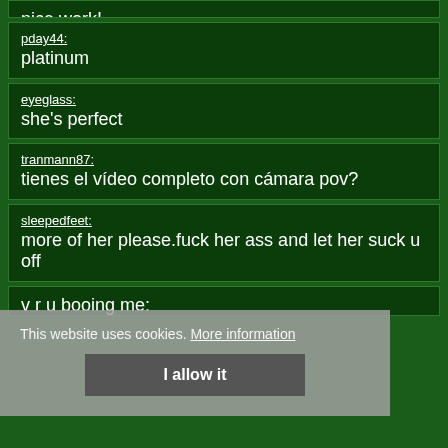nice work!
pday44:
platinum
eyeglass:
she's perfect
tranmann87:
tienes el vídeo completo con cámara pov?
sleepedfeet:
more of her please.fuck her ass and let her suck u off
This website uses cookies. More information
I allow it
v r u booing me: